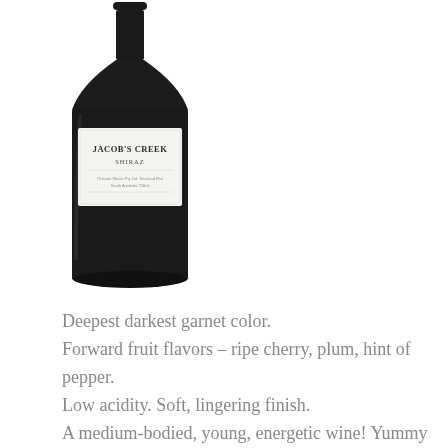[Figure (photo): A bottle of Jacob's Creek Shiraz red wine with a dark glass bottle, white label reading JACOB'S CREEK SHIRAZ, photographed on a white background.]
Deepest darkest garnet color. Forward fruit flavors – ripe cherry, plum, hint of pepper. Low acidity. Soft, lingering finish. A medium-bodied, young, energetic wine! Yummy & zippy. Recommended. A+/B+